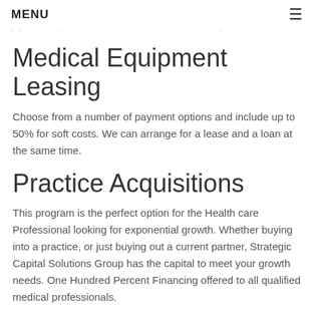MENU
Medical Equipment Leasing
Choose from a number of payment options and include up to 50% for soft costs. We can arrange for a lease and a loan at the same time.
Practice Acquisitions
This program is the perfect option for the Health care Professional looking for exponential growth. Whether buying into a practice, or just buying out a current partner, Strategic Capital Solutions Group has the capital to meet your growth needs. One Hundred Percent Financing offered to all qualified medical professionals.